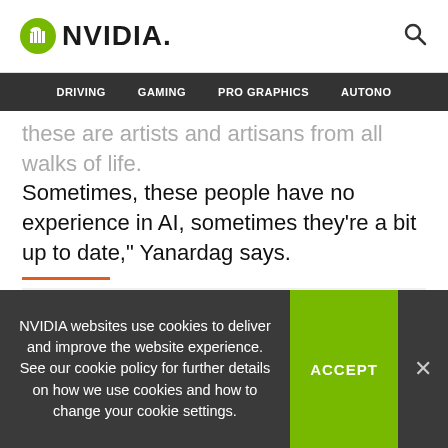NVIDIA (logo and search icon)
DRIVING   GAMING   PRO GRAPHICS   AUTONO
these are artists and artisans from all walks of life. Sometimes, these people have no experience in AI, sometimes they’re a bit up to date,” Yanardag says.
[Figure (other): Gray placeholder content block below orange rule divider]
NVIDIA websites use cookies to deliver and improve the website experience. See our cookie policy for further details on how we use cookies and how to change your cookie settings.